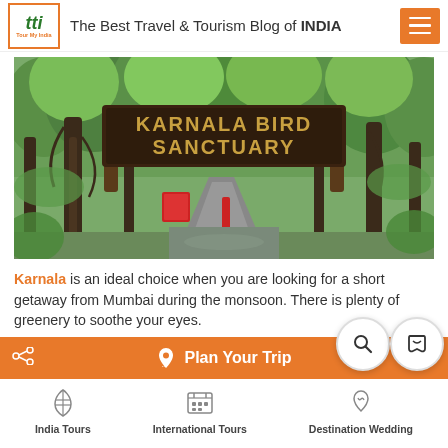The Best Travel & Tourism Blog of INDIA
[Figure (photo): Entrance gate of Karnala Bird Sanctuary with wooden sign reading 'KARNALA BIRD SANCTUARY', surrounded by lush green trees]
Karnala is an ideal choice when you are looking for a short getaway from Mumbai during the monsoon. There is plenty of greenery to soothe your eyes.
Plan Your Trip
India Tours | International Tours | Destination Wedding